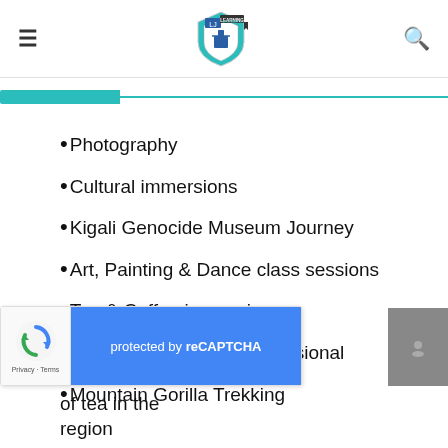Learning Journeys
Photography
Cultural immersions
Kigali Genocide Museum Journey
Art, Painting & Dance class sessions
Tea & Coffee immersions
Photography from a professional
Mountain Gorilla Trekking
[Figure (screenshot): reCAPTCHA widget overlay with Google logo and blue 'protected by reCAPTCHA' panel]
of tea in the region